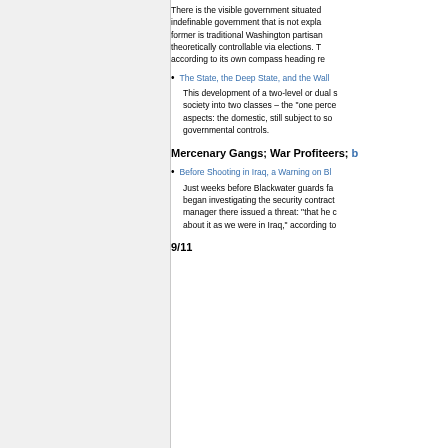There is the visible government situated in Washington that we observe every day – bureaucrats, politicians, spokespersons – and then there is the indefinable government that is not explained in civics books. The former is traditional Washington partisanship and is theoretically controllable via elections. The latter operates according to its own compass heading regardless of elections.
The State, the Deep State, and the Wall Street Overworld
This development of a two-level or dual state has been accompanied by the bifurcation of society into two classes – the "one percent" and the rest – with two aspects: the domestic, still subject to some governmental controls.
Mercenary Gangs; War Profiteers;
Before Shooting in Iraq, a Warning on Blackwater
Just weeks before Blackwater guards fatally shot 17 Iraqis, began investigating the security contractor. A Blackwater manager there issued a threat: "that he could have us killed about it as we were in Iraq," according to
9/11